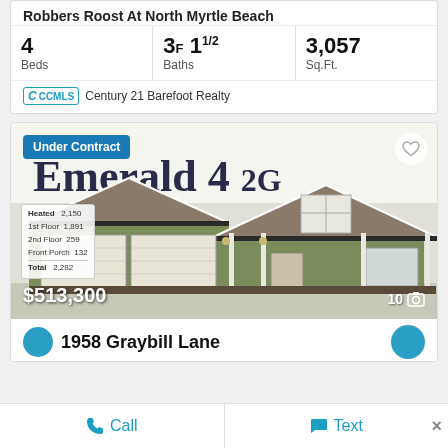Robbers Roost At North Myrtle Beach
4 Beds | 3F 1½ Baths | 3,057 Sq.Ft.
CCMLS Century 21 Barefoot Realty
[Figure (photo): Exterior rendering of a house plan called 'The Emerald 4 2G' — a craftsman-style single-story home with green siding, two-car garage, front porch, and peaked roof. An 'Under Contract' badge is shown in blue at top-left. Price overlay shows $513,300. Photo count shows 10.]
1958 Graybill Lane
Call | Text | ×